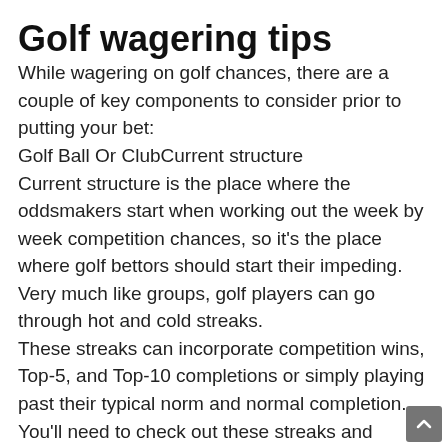Golf wagering tips
While wagering on golf chances, there are a couple of key components to consider prior to putting your bet: Golf Ball Or ClubCurrent structure Current structure is the place where the oddsmakers start when working out the week by week competition chances, so it's the place where golf bettors should start their impeding. Very much like groups, golf players can go through hot and cold streaks. These streaks can incorporate competition wins, Top-5, and Top-10 completions or simply playing past their typical norm and normal completion. You'll need to check out these streaks and what's driving them. In some cases it's an uptick in execution however different occasions it's basically going up